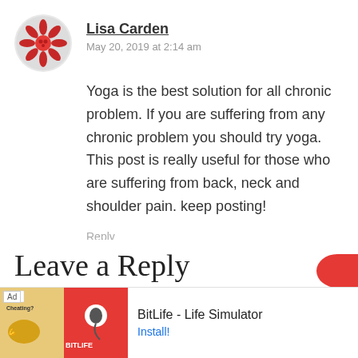[Figure (illustration): Round avatar image showing a cartoon red flower/flake character on a white/grey background]
Lisa Carden
May 20, 2019 at 2:14 am
Yoga is the best solution for all chronic problem. If you are suffering from any chronic problem you should try yoga. This post is really useful for those who are suffering from back, neck and shoulder pain. keep posting!
Reply
Leave a Reply
[Figure (screenshot): Mobile advertisement banner for BitLife - Life Simulator app with Ad label, game imagery on left and Install button on right]